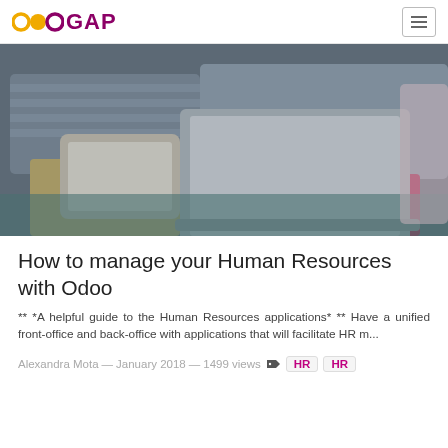OdooGAP (navigation bar with logo and hamburger menu)
[Figure (photo): Two people sitting on a couch, one holding a tablet, one using a laptop. Muted blue-grey and warm tones.]
How to manage your Human Resources with Odoo
** *A helpful guide to the Human Resources applications* ** Have a unified front-office and back-office with applications that will facilitate HR m...
Alexandra Mota — January 2018 — 1499 views  HR  HR